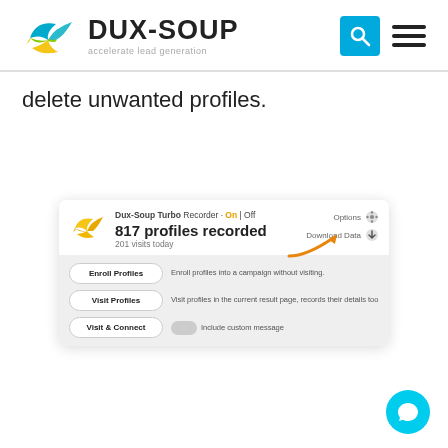DUX-SOUP accelerate lead generation
delete unwanted profiles.
[Figure (screenshot): Dux-Soup Turbo browser extension UI showing 817 profiles recorded, 201 visits today, with Download Data button highlighted by an orange arrow, and buttons for Enroll Profiles, Visit Profiles, Visit & Connect]